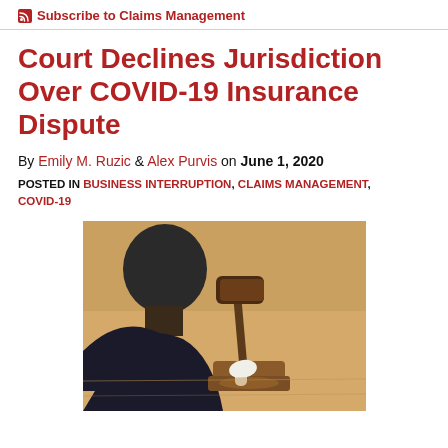Subscribe to Claims Management
Court Declines Jurisdiction Over COVID-19 Insurance Dispute
By Emily M. Ruzic & Alex Purvis on June 1, 2020
POSTED IN BUSINESS INTERRUPTION, CLAIMS MANAGEMENT, COVID-19
[Figure (photo): Person seen from behind looking at a judge's gavel being struck on a wooden block on a light wooden surface]